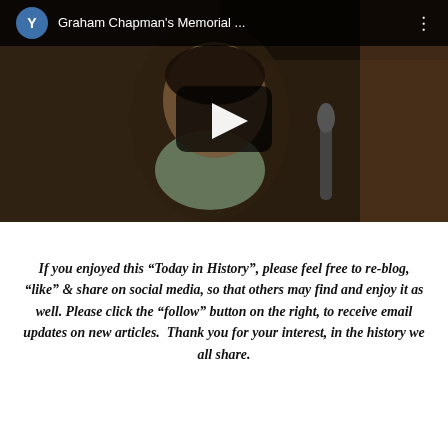[Figure (screenshot): YouTube video thumbnail screenshot showing Graham Chapman's Memorial video. Top bar has a blue circle with 'Y', title 'Graham Chapman's Memorial ...', and three-dot menu. Center shows a play button. Background shows a man speaking into a microphone.]
If you enjoyed this “Today in History”, please feel free to re-blog, “like” & share on social media, so that others may find and enjoy it as well. Please click the “follow” button on the right, to receive email updates on new articles.  Thank you for your interest, in the history we all share.